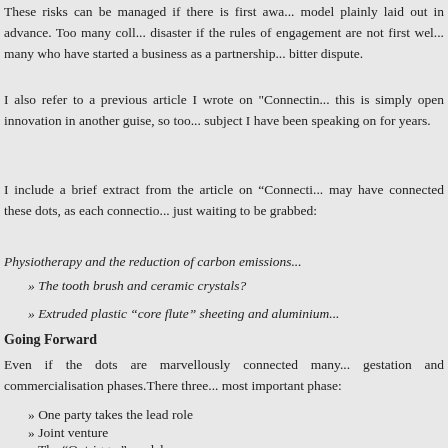These risks can be managed if there is first awa... model plainly laid out in advance. Too many coll... disaster if the rules of engagement are not first wel... many who have started a business as a partnership... bitter dispute.
I also refer to a previous article I wrote on "Connectin... this is simply open innovation in another guise, so too... subject I have been speaking on for years.
I include a brief extract from the article on “Connecti... may have connected these dots, as each connectio... just waiting to be grabbed:
Physiotherapy and the reduction of carbon emissions...
» The tooth brush and ceramic crystals?
» Extruded plastic “core flute” sheeting and aluminium...
Going Forward
Even if the dots are marvellously connected many... gestation and commercialisation phases. There three... most important phase:
» One party takes the lead role
» Joint venture
» The “Outrigger” model